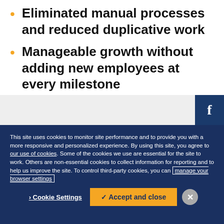Eliminated manual processes and reduced duplicative work
Manageable growth without adding new employees at every milestone
This site uses cookies to monitor site performance and to provide you with a more responsive and personalized experience. By using this site, you agree to our use of cookies. Some of the cookies we use are essential for the site to work. Others are non-essential cookies to collect information for reporting and to help us improve the site. To control third-party cookies, you can manage your browser settings
Cookie Settings  ✓ Accept and close